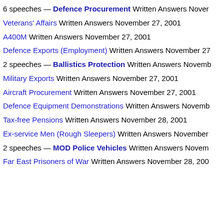6 speeches — Defence Procurement Written Answers November
Veterans' Affairs Written Answers November 27, 2001
A400M Written Answers November 27, 2001
Defence Exports (Employment) Written Answers November 27
2 speeches — Ballistics Protection Written Answers November
Military Exports Written Answers November 27, 2001
Aircraft Procurement Written Answers November 27, 2001
Defence Equipment Demonstrations Written Answers November
Tax-free Pensions Written Answers November 28, 2001
Ex-service Men (Rough Sleepers) Written Answers November
2 speeches — MOD Police Vehicles Written Answers November
Far East Prisoners of War Written Answers November 28, 200